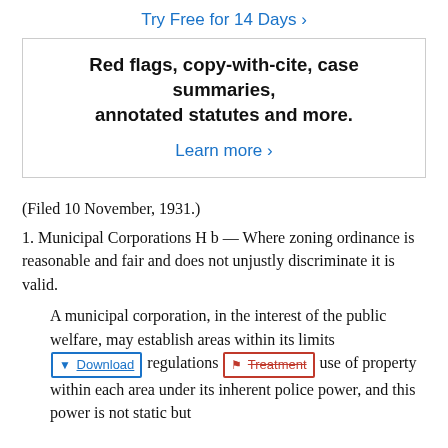Try Free for 14 Days ›
Red flags, copy-with-cite, case summaries, annotated statutes and more.
Learn more ›
(Filed 10 November, 1931.)
1. Municipal Corporations H b — Where zoning ordinance is reasonable and fair and does not unjustly discriminate it is valid.
A municipal corporation, in the interest of the public welfare, may establish areas within its limits and prescribe regulations as to the use of property within each area under its inherent police power, and this power is not static but